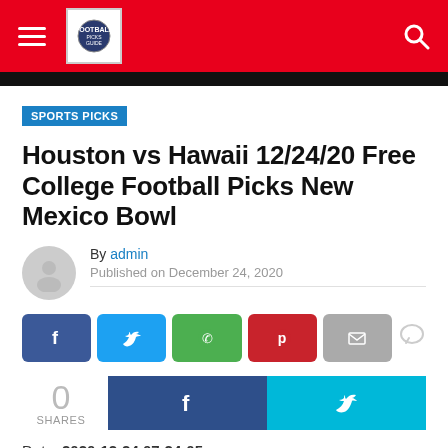Sports Picks - Football Picks Website Header
SPORTS PICKS
Houston vs Hawaii 12/24/20 Free College Football Picks New Mexico Bowl
By admin
Published on December 24, 2020
Date: 2020-12-24 07:24:05